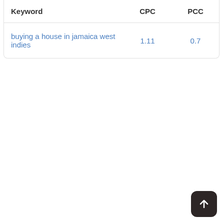| Keyword | CPC | PCC |
| --- | --- | --- |
| buying a house in jamaica west indies | 1.11 | 0.7 |